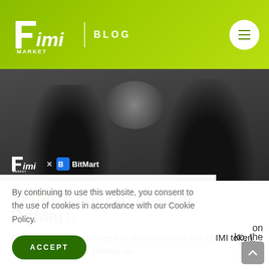Fimi Market | BLOG
[Figure (photo): Two people shaking hands or interacting, dark background. Fimi Market x BitMart logo overlay at bottom left.]
$FIMI Token to List on BitMart.
Fimi Market Inc. is pleased to announce that the $FIMI token will be launching on BitMart on [utility] [the] [ko, the]
By continuing to use this website, you consent to the use of cookies in accordance with our Cookie Policy.
ACCEPT